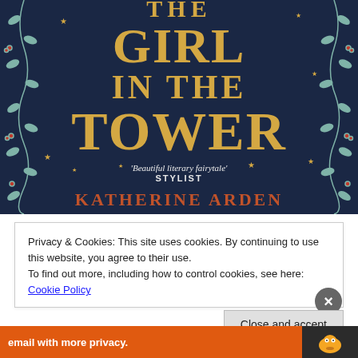[Figure (illustration): Book cover for 'The Girl in the Tower' by Katherine Arden. Dark navy blue background with decorative vine and leaf borders on left and right. Title text in gold serif font reading 'THE GIRL IN THE TOWER'. Tagline reads 'Beautiful literary fairytale' STYLIST. Author name KATHERINE ARDEN in orange/rust serif font. Small gold stars scattered across the cover.]
Privacy & Cookies: This site uses cookies. By continuing to use this website, you agree to their use.
To find out more, including how to control cookies, see here: Cookie Policy
Close and accept
[Figure (screenshot): Bottom banner with orange background showing 'email with more privacy.' text and a duck logo icon on the right (DuckDuckGo branding)]